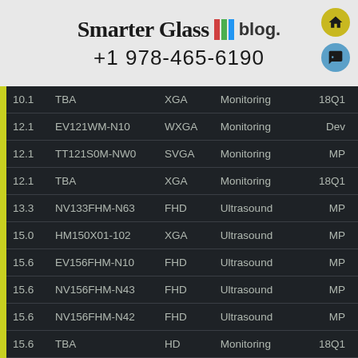Smarter Glass blog. +1 978-465-6190
| Size | Model | Res | Category | Status |
| --- | --- | --- | --- | --- |
| 10.1 | TBA | XGA | Monitoring | 18Q1 |
| 12.1 | EV121WM-N10 | WXGA | Monitoring | Dev |
| 12.1 | TT121S0M-NW0 | SVGA | Monitoring | MP |
| 12.1 | TBA | XGA | Monitoring | 18Q1 |
| 13.3 | NV133FHM-N63 | FHD | Ultrasound | MP |
| 15.0 | HM150X01-102 | XGA | Ultrasound | MP |
| 15.6 | EV156FHM-N10 | FHD | Ultrasound | MP |
| 15.6 | NV156FHM-N43 | FHD | Ultrasound | MP |
| 15.6 | NV156FHM-N42 | FHD | Ultrasound | MP |
| 15.6 | TBA | HD | Monitoring | 18Q1 |
| 17.3 | NV173FHM-N41 | FHD | Ultrasound | MP |
| 19.0 | DV190E0M-NM0 | SXGA | Clinical | MP |